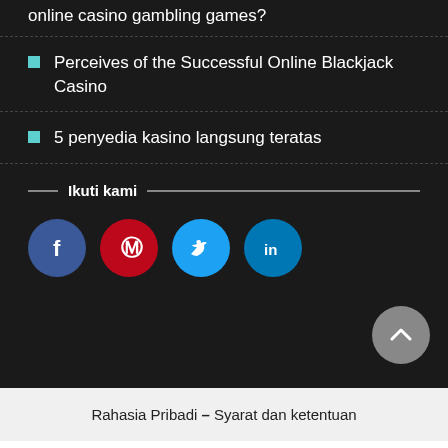online casino gambling games?
Perceives of the Successful Online Blackjack Casino
5 penyedia kasino langsung teratas
Ikuti kami
[Figure (other): Social media icons: Facebook, Pinterest, Twitter, LinkedIn buttons and a scroll-to-top button]
Rahasia Pribadi – Syarat dan ketentuan